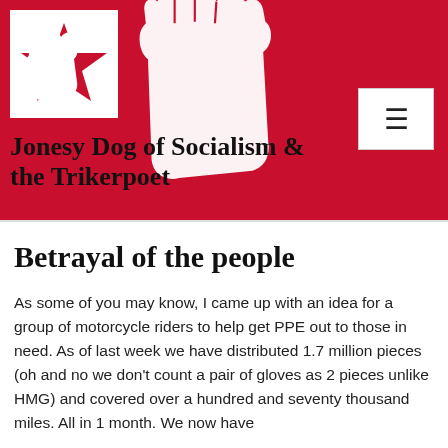[Figure (illustration): Website header banner with large red five-pointed star and white raised fist silhouette in center. Small logo in top-left white box showing red star with fist. Menu hamburger icon button at top right.]
Jonesy Dog of Socialism & the Trikerpoet
Betrayal of the people
As some of you may know, I came up with an idea for a group of motorcycle riders to help get PPE out to those in need. As of last week we have distributed 1.7 million pieces (oh and no we don't count a pair of gloves as 2 pieces unlike HMG) and covered over a hundred and seventy thousand miles. All in 1 month. We now have